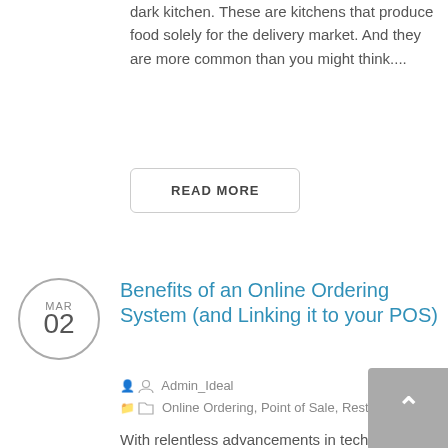dark kitchen. These are kitchens that produce food solely for the delivery market. And they are more common than you might think....
READ MORE
Benefits of an Online Ordering System (and Linking it to your POS)
Admin_Ideal
Online Ordering, Point of Sale, Restaurants
With relentless advancements in technology, ordering food online has quickly taken over the food industry.  Statistics show 82% of consumers preferred to place their orders using